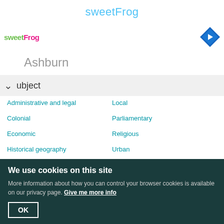sweetFrog
[Figure (logo): sweetFrog logo and navigation icon]
Ashburn
ubject
Administrative and legal
Local
Colonial
Parliamentary
Economic
Religious
Historical geography
Urban
Intellectual and cultural
Period
Ancient
15th century
Early medieval
16th century
We use cookies on this site
More information about how you can control your browser cookies is available on our privacy page. Give me more info